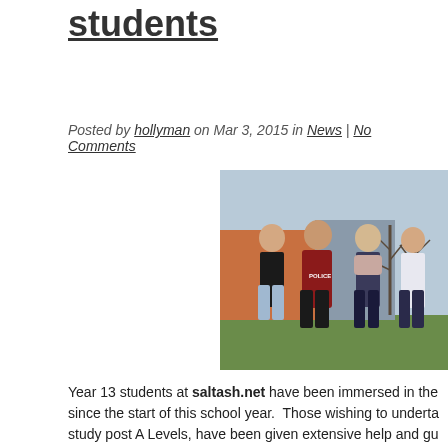students
Posted by hollyman on Mar 3, 2015 in News | No Comments
[Figure (photo): Four young students standing together outdoors in front of a building with bare trees visible in the background. Two males on the left, two females on the right. One male wearing a red POLICE hoodie.]
Year 13 students at saltash.net have been immersed in the since the start of this school year.  Those wishing to underta study post A Levels, have been given extensive help and gu including the Head of 6th Form, Mr Scantlebury and deputy